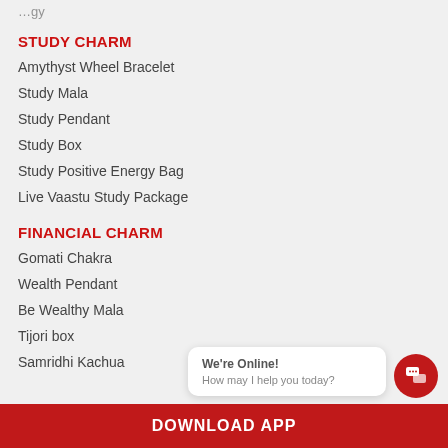…(truncated top)
STUDY CHARM
Amythyst Wheel Bracelet
Study Mala
Study Pendant
Study Box
Study Positive Energy Bag
Live Vaastu Study Package
FINANCIAL CHARM
Gomati Chakra
Wealth Pendant
Be Wealthy Mala
Tijori box
Samridhi Kachua
DOWNLOAD APP
We're Online! How may I help you today?